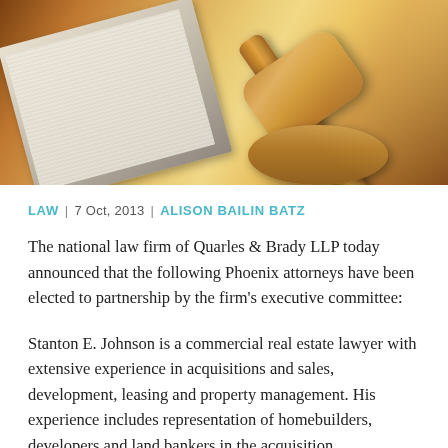[Figure (photo): Close-up photograph of a wooden judge's gavel resting near an open law book on a wooden surface, with warm golden light in the background.]
LAW | 7 Oct, 2013 | ALISON BAILIN BATZ
The national law firm of Quarles & Brady LLP today announced that the following Phoenix attorneys have been elected to partnership by the firm's executive committee:
Stanton E. Johnson is a commercial real estate lawyer with extensive experience in acquisitions and sales, development, leasing and property management. His experience includes representation of homebuilders, developers and land bankers in the acquisition, development and financing of master-planned